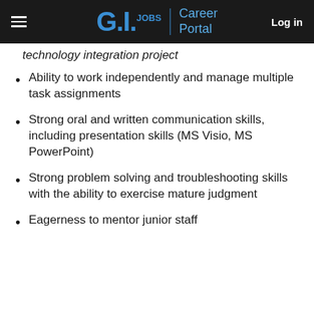G.I. Jobs | Career Portal  Log in
technology integration project
Ability to work independently and manage multiple task assignments
Strong oral and written communication skills, including presentation skills (MS Visio, MS PowerPoint)
Strong problem solving and troubleshooting skills with the ability to exercise mature judgment
Eagerness to mentor junior staff